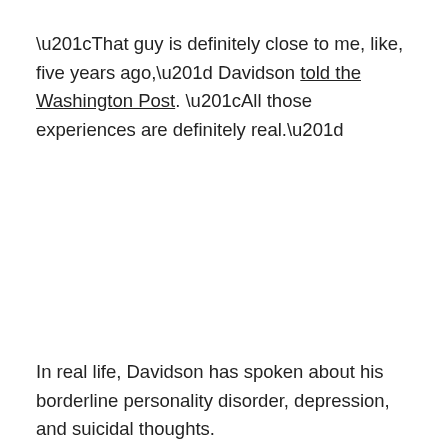“That guy is definitely close to me, like, five years ago,” Davidson told the Washington Post. “All those experiences are definitely real.”
In real life, Davidson has spoken about his borderline personality disorder, depression, and suicidal thoughts.